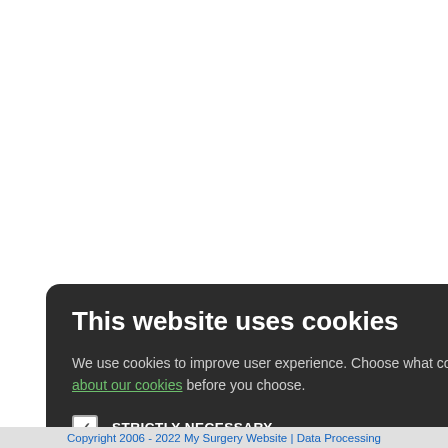This statement was prepared on 30th ... My Surgery Website. We tested the ho... due 30th December 2021 by My Surge...
Accessible features we test manu...
manual check against the W3C va...
examining microdata markup and...
ntent in a text-only bro...
readers to read text...
ity simulation tools to...
tures we test using...
ssibility Testing
cessibility Checker
essibility Evaluation
[Figure (screenshot): Cookie consent dialog modal with dark background. Title: 'This website uses cookies'. Body text: 'We use cookies to improve user experience. Choose what cookies you allow us to use. You can read more about our cookies before you choose.' Checkboxes: STRICTLY NECESSARY (checked), PERFORMANCE, TARGETING, FUNCTIONALITY. Buttons: ACCEPT ALL (green), DECLINE ALL (outlined). Close X button top right.]
Copyright 2006 - 2022 My Surgery Website | Data Processing...